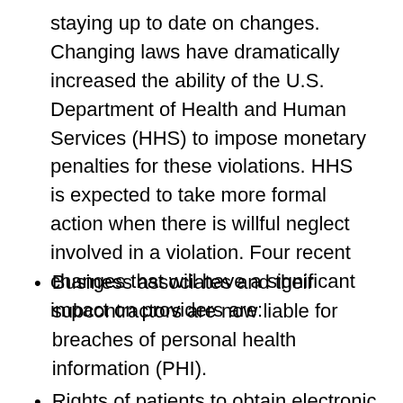staying up to date on changes. Changing laws have dramatically increased the ability of the U.S. Department of Health and Human Services (HHS) to impose monetary penalties for these violations. HHS is expected to take more formal action when there is willful neglect involved in a violation. Four recent changes that will have a significant impact on providers are:
Business associates and their subcontractors are now liable for breaches of personal health information (PHI).
Rights of patients to obtain electronic copies of their records have been